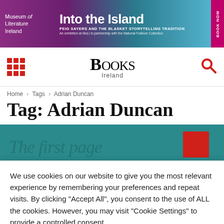[Figure (screenshot): Museum of Literature Ireland banner advertising 'Into the Island: Peig Sayers and the Blasket Storytelling Tradition' exhibition, with teal/purple gradient background and 'Book Now' tab]
[Figure (logo): Books Ireland logo with grid icon and search magnifier]
Home › Tags › Adrian Duncan
Tag: Adrian Duncan
[Figure (screenshot): Teal article card showing partial text 'The first page' with red element]
We use cookies on our website to give you the most relevant experience by remembering your preferences and repeat visits. By clicking "Accept All", you consent to the use of ALL the cookies. However, you may visit "Cookie Settings" to provide a controlled consent.
Cookie Settings   Accept All